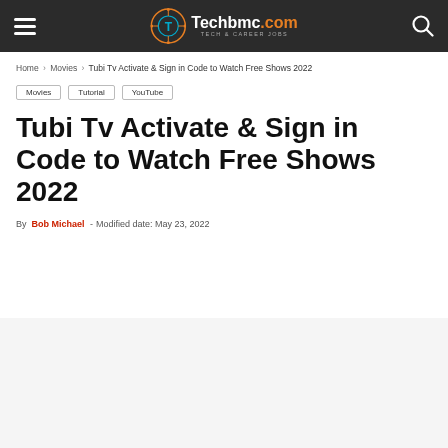Techbmc.com — TECH & CAREER JOBS
Home › Movies › Tubi Tv Activate & Sign in Code to Watch Free Shows 2022
Movies
Tutorial
YouTube
Tubi Tv Activate & Sign in Code to Watch Free Shows 2022
By Bob Michael - Modified date: May 23, 2022